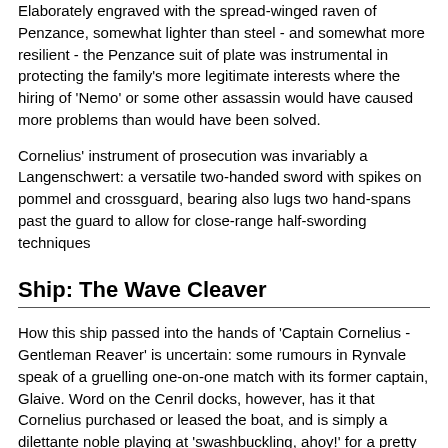Elaborately engraved with the spread-winged raven of Penzance, somewhat lighter than steel - and somewhat more resilient - the Penzance suit of plate was instrumental in protecting the family's more legitimate interests where the hiring of 'Nemo' or some other assassin would have caused more problems than would have been solved.
Cornelius' instrument of prosecution was invariably a Langenschwert: a versatile two-handed sword with spikes on pommel and crossguard, bearing also lugs two hand-spans past the guard to allow for close-range half-swording techniques
Ship: The Wave Cleaver
How this ship passed into the hands of 'Captain Cornelius - Gentleman Reaver' is uncertain: some rumours in Rynvale speak of a gruelling one-on-one match with its former captain, Glaive. Word on the Cenril docks, however, has it that Cornelius purchased or leased the boat, and is simply a dilettante noble playing at 'swashbuckling, ahoy!' for a pretty profit to Glaive and his crew.
Description